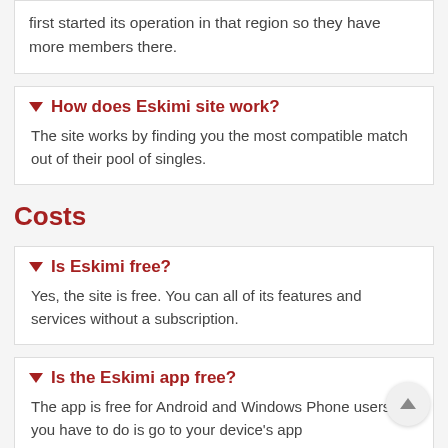first started its operation in that region so they have more members there.
How does Eskimi site work?
The site works by finding you the most compatible match out of their pool of singles.
Costs
Is Eskimi free?
Yes, the site is free. You can all of its features and services without a subscription.
Is the Eskimi app free?
The app is free for Android and Windows Phone users. All you have to do is go to your device's app